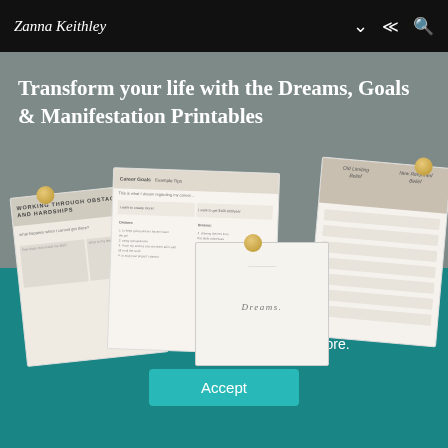Zanna Keithley
[Figure (illustration): Hero banner with gray background showing Dreams, Goals & Manifestation Printables worksheets fanned out with gold pins, overlaid with white text title]
Transform your life with the Dreams, Goals & Manifestation Printables
We use cookies to ensure that we give you the best experience on our website. Click here to learn more.
Accept